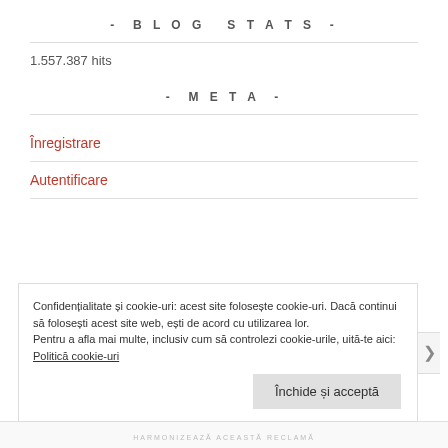- BLOG STATS -
1.557.387 hits
- META -
Înregistrare
Autentificare
Confidențialitate și cookie-uri: acest site folosește cookie-uri. Dacă continui să folosești acest site web, ești de acord cu utilizarea lor.
Pentru a afla mai multe, inclusiv cum să controlezi cookie-urile, uită-te aici: Politică cookie-uri
Închide și acceptă
HARMONIZEAZĂ ACEASTĂ RECLAMĂ